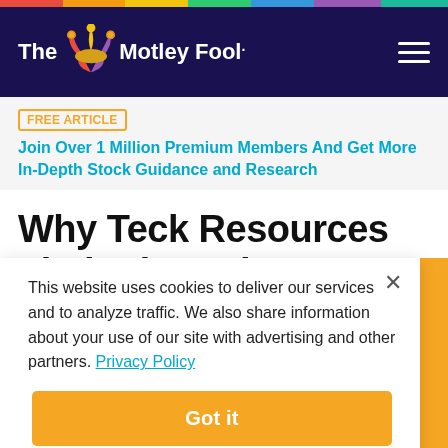The Motley Fool
FREE ARTICLE  Join Over 1 Million Premium Members And Get More In-Depth Stock Guidance and Research
Why Teck Resources Limited Stock Catapulted 60.97% Higher in April
This website uses cookies to deliver our services and to analyze traffic. We also share information about your use of our site with advertising and other partners. Privacy Policy
Got it
Cookie Settings